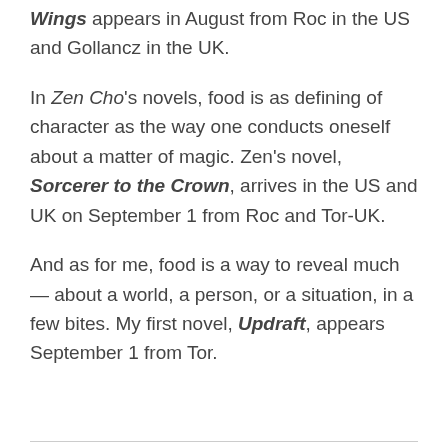Wings appears in August from Roc in the US and Gollancz in the UK.
In Zen Cho's novels, food is as defining of character as the way one conducts oneself about a matter of magic. Zen's novel, Sorcerer to the Crown, arrives in the US and UK on September 1 from Roc and Tor-UK.
And as for me, food is a way to reveal much — about a world, a person, or a situation, in a few bites. My first novel, Updraft, appears September 1 from Tor.